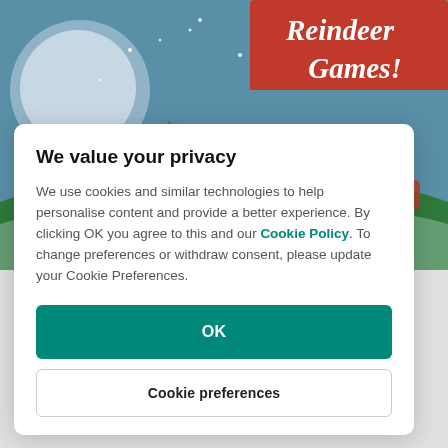[Figure (illustration): Christmas-themed illustration showing reindeer in a snowy scene with text 'Reindeer Games!' on a red banner, with Santa's sleigh and holiday decorations]
We value your privacy
We use cookies and similar technologies to help personalise content and provide a better experience. By clicking OK you agree to this and our Cookie Policy. To change preferences or withdraw consent, please update your Cookie Preferences.